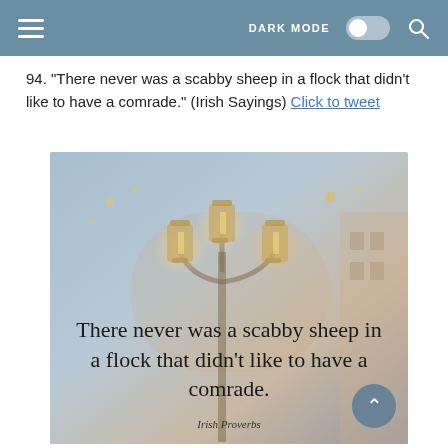DARK MODE [toggle] [search]
94. "There never was a scabby sheep in a flock that didn't like to have a comrade." (Irish Sayings) Click to tweet
[Figure (illustration): Decorative image with a muted blue and warm tone background showing lantern lights. Overlaid serif text reads: 'There never was a scabby sheep in a flock that didn't like to have a comrade.' with attribution 'Irish Proverbs' below.]